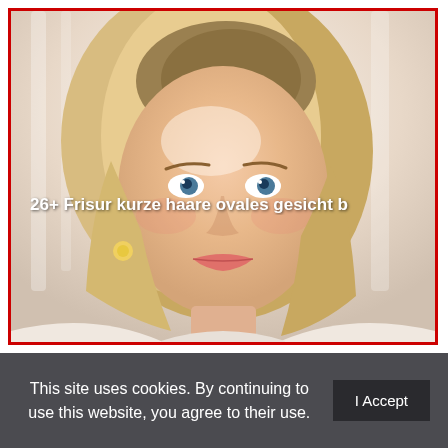[Figure (photo): Portrait photo of a smiling blonde woman with a short bob haircut, wearing light makeup and earrings, with a soft light background. Red border frame around the image.]
26+ Frisur kurze haare ovales gesicht b
This site uses cookies. By continuing to use this website, you agree to their use. I Accept